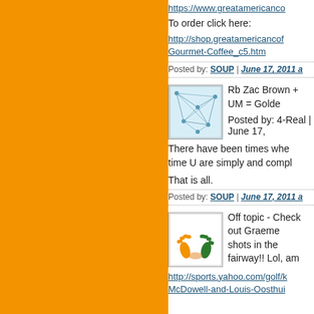[Figure (screenshot): Orange sidebar on left half of page]
https://www.greatamericanco
To order click here:
http://shop.greatamericancof Gourmet-Coffee_c5.htm
Posted by: SOUP | June 17, 2011 a
[Figure (illustration): Avatar with map/network pattern in blue and white]
Rb Zac Brown + UM = Golde
Posted by: 4-Real | June 17,
There have been times whe time U are simply and compl
That is all.
Posted by: SOUP | June 17, 2011 a
[Figure (logo): University of Miami UM logo with orange and green hands]
Off topic - Check out Graeme shots in the fairway!! Lol, am
http://sports.yahoo.com/golf/k McDowell-and-Louis-Oosthui